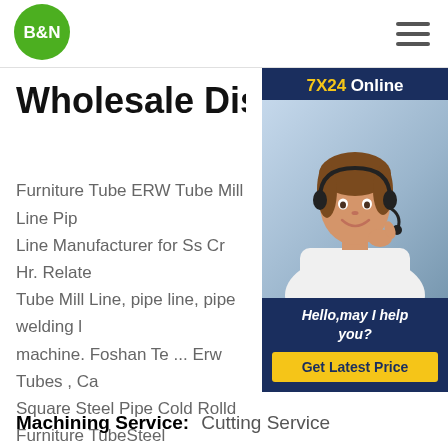[Figure (logo): B&N logo — green circle with white B&N text]
[Figure (infographic): 7X24 Online chat widget with female customer service agent wearing headset, 'Hello,may I help you?' text, and 'Get Latest Price' button]
Wholesale Distribu...
Furniture Tube ERW Tube Mill Line Pip... Line Manufacturer for Ss Cr Hr. Relate... Tube Mill Line, pipe line, pipe welding l... machine. Foshan Te ... Erw Tubes , Ca... Square Steel Pipe Cold Rolld Furniture TubeSteel Tube , Steel Hollow Section, ERW Steel Pipe manufacturer / supplier in China, offe...
Machining Service:   Cutting Service